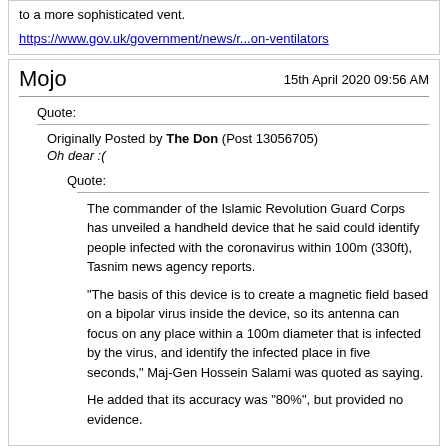to a more sophisticated vent.
https://www.gov.uk/government/news/r...on-ventilators
Mojo
15th April 2020 09:56 AM
Quote:
Originally Posted by The Don (Post 13056705)
Oh dear :(
Quote:
The commander of the Islamic Revolution Guard Corps has unveiled a handheld device that he said could identify people infected with the coronavirus within 100m (330ft), Tasnim news agency reports.
"The basis of this device is to create a magnetic field based on a bipolar virus inside the device, so its antenna can focus on any place within a 100m diameter that is infected by the virus, and identify the infected place in five seconds," Maj-Gen Hossein Salami was quoted as saying.
He added that its accuracy was "80%", but provided no evidence.